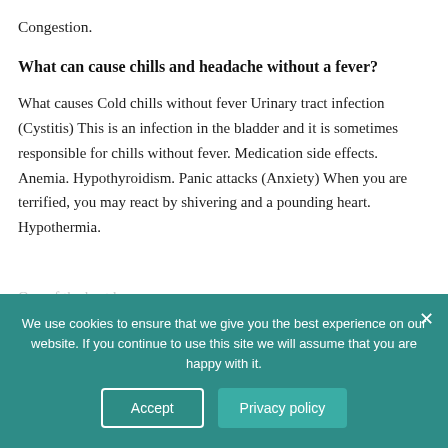Congestion.
What can cause chills and headache without a fever?
What causes Cold chills without fever Urinary tract infection (Cystitis) This is an infection in the bladder and it is sometimes responsible for chills without fever. Medication side effects. Anemia. Hypothyroidism. Panic attacks (Anxiety) When you are terrified, you may react by shivering and a pounding heart. Hypothermia.
One of the best ho... exercise. A simple walk for 30 minutes or playing outdoors...